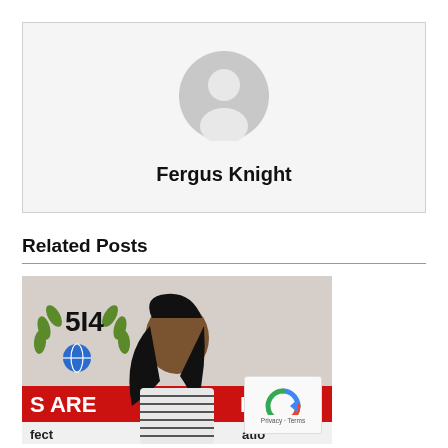[Figure (illustration): Default user avatar placeholder icon — grey circle with silhouette of person on light grey background]
Fergus Knight
Related Posts
[Figure (photo): Photo of a woman with dreadlocks smiling, standing in front of a banner that reads 'S ARE PORTI' and 'fect atio', with a '5I4' logo and globe icon visible in the background]